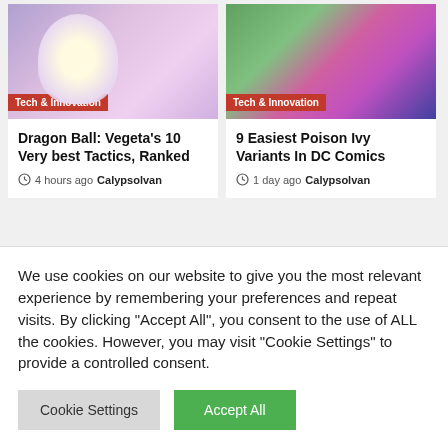[Figure (screenshot): Article card with anime/Dragon Ball artwork showing purple/pink background with character. Red badge reading 'Tech & Innovation']
Dragon Ball: Vegeta's 10 Very best Tactics, Ranked
4 hours ago  Calypsolvan
[Figure (screenshot): Article card with colorful background showing person in costume. Red badge reading 'Tech & Innovation']
9 Easiest Poison Ivy Variants In DC Comics
1 day ago  Calypsolvan
[Figure (photo): Partial image of person with dark hair against teal/dark background]
We use cookies on our website to give you the most relevant experience by remembering your preferences and repeat visits. By clicking "Accept All", you consent to the use of ALL the cookies. However, you may visit "Cookie Settings" to provide a controlled consent.
Cookie Settings   Accept All